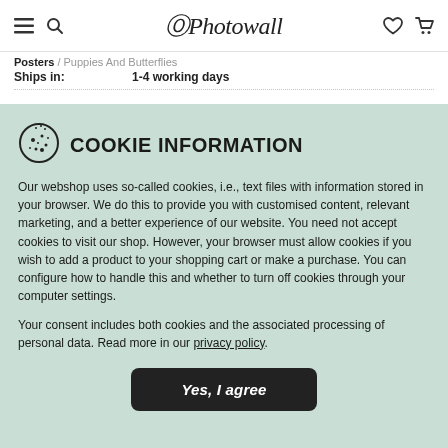Photowall — hamburger, search, heart, cart icons
Posters / Puppies And Butterflies
Ships in:    1-4 working days
COOKIE INFORMATION
Our webshop uses so-called cookies, i.e., text files with information stored in your browser. We do this to provide you with customised content, relevant marketing, and a better experience of our website. You need not accept cookies to visit our shop. However, your browser must allow cookies if you wish to add a product to your shopping cart or make a purchase. You can configure how to handle this and whether to turn off cookies through your computer settings.
Your consent includes both cookies and the associated processing of personal data. Read more in our privacy policy.
Yes, I agree